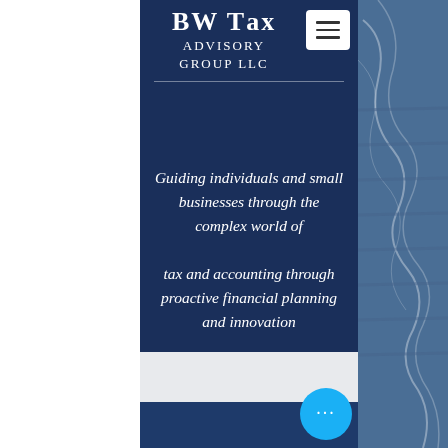BW Tax Advisory Group LLC
Guiding individuals and small businesses through the complex world of tax and accounting through proactive financial planning and innovation
[Figure (other): Blue circular button with three white dots (ellipsis menu)]